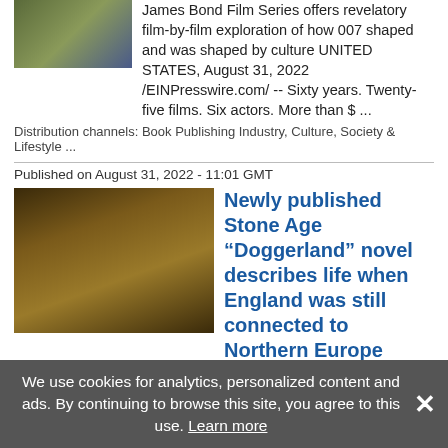James Bond Film Series offers revelatory film-by-film exploration of how 007 shaped and was shaped by culture UNITED STATES, August 31, 2022 /EINPresswire.com/ -- Sixty years. Twenty-five films. Six actors. More than $ ...
Distribution channels: Book Publishing Industry, Culture, Society & Lifestyle ...
Published on August 31, 2022 - 11:01 GMT
Newly published Stone Age “Doggerland” novel describes life when England was still connected to Northern Europe
Mike Meier’s new book “The Final Days of Doggerland,” a Stone Age story, is in large part based on historical facts, such as the disappearance of Doggerland. MIAMI BEACH, FLORIDA, USA, August 31, 2022 / EINPresswire.com/ -- “Doggerland?” you may ...
Distribution channels: Book Publishing Industry, Culture, Society & Lifestyle ...
We use cookies for analytics, personalized content and ads. By continuing to browse this site, you agree to this use. Learn more